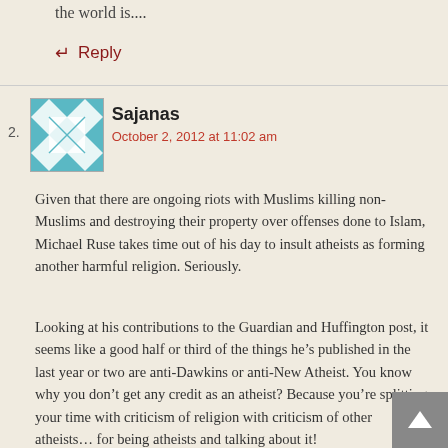the world is....
↵ Reply
2. Sajanas
October 2, 2012 at 11:02 am
Given that there are ongoing riots with Muslims killing non-Muslims and destroying their property over offenses done to Islam, Michael Ruse takes time out of his day to insult atheists as forming another harmful religion. Seriously.
Looking at his contributions to the Guardian and Huffington post, it seems like a good half or third of the things he's published in the last year or two are anti-Dawkins or anti-New Atheist. You know why you don't get any credit as an atheist? Because you're splitting your time with criticism of religion with criticism of other atheists… for being atheists and talking about it!